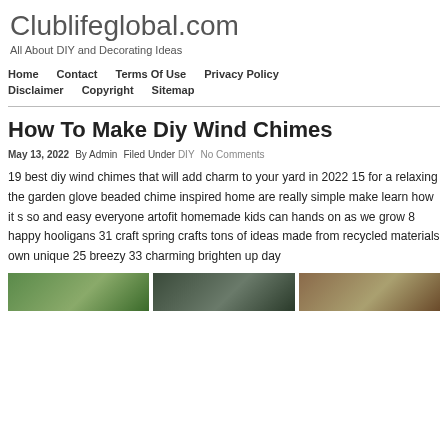Clublifeglobal.com
All About DIY and Decorating Ideas
Home   Contact   Terms Of Use   Privacy Policy
Disclaimer   Copyright   Sitemap
How To Make Diy Wind Chimes
May 13, 2022   By Admin   Filed Under DIY   No Comments
19 best diy wind chimes that will add charm to your yard in 2022 15 for a relaxing the garden glove beaded chime inspired home are really simple make learn how it s so and easy everyone artofit homemade kids can hands on as we grow 8 happy hooligans 31 craft spring crafts tons of ideas made from recycled materials own unique 25 breezy 33 charming brighten up day
[Figure (photo): Three photos showing DIY wind chime projects — green plants, dark/blue scene, and brown/craft scene]